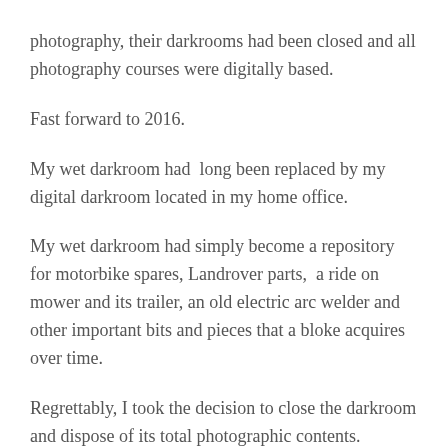photography, their darkrooms had been closed and all photography courses were digitally based.
Fast forward to 2016.
My wet darkroom had  long been replaced by my digital darkroom located in my home office.
My wet darkroom had simply become a repository for motorbike spares, Landrover parts,  a ride on mower and its trailer, an old electric arc welder and other important bits and pieces that a bloke acquires over time.
Regrettably, I took the decision to close the darkroom and dispose of its total photographic contents.